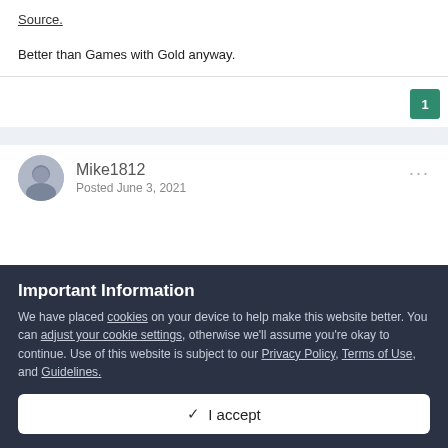Source.
Better than Games with Gold anyway.
1
Mike1812
Posted June 3, 2021
Important Information
We have placed cookies on your device to help make this website better. You can adjust your cookie settings, otherwise we'll assume you're okay to continue. Use of this website is subject to our Privacy Policy, Terms of Use, and Guidelines.
✓  I accept